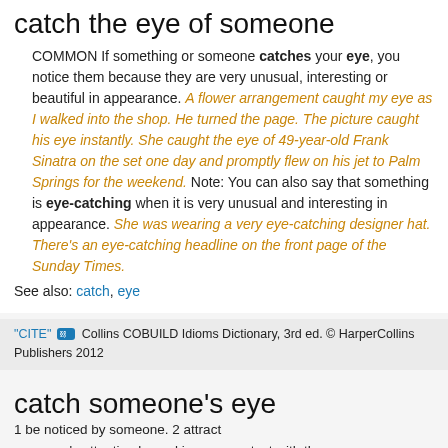catch the eye of someone
COMMON If something or someone catches your eye, you notice them because they are very unusual, interesting or beautiful in appearance. A flower arrangement caught my eye as I walked into the shop. He turned the page. The picture caught his eye instantly. She caught the eye of 49-year-old Frank Sinatra on the set one day and promptly flew on his jet to Palm Springs for the weekend. Note: You can also say that something is eye-catching when it is very unusual and interesting in appearance. She was wearing a very eye-catching designer hat. There's an eye-catching headline on the front page of the Sunday Times.
See also: catch, eye
"CITE" [link] Collins COBUILD Idioms Dictionary, 3rd ed. © HarperCollins Publishers 2012
catch someone's eye
1 be noticed by someone. 2 attract someone's attention by making eye contact with them.